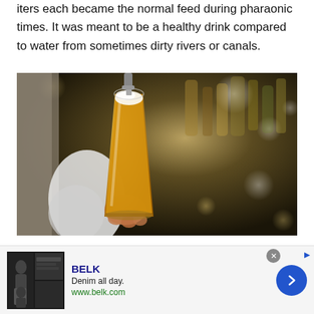iters each became the normal feed during pharaonic times. It was meant to be a healthy drink compared to water from sometimes dirty rivers or canals.
[Figure (photo): A bartender holding up a tall glass of golden lager beer being poured from a tap, with blurry bottles on shelves in the background.]
Conclusion
[Figure (other): Advertisement for BELK: 'Denim all day. www.belk.com' with product imagery and a blue circular arrow button.]